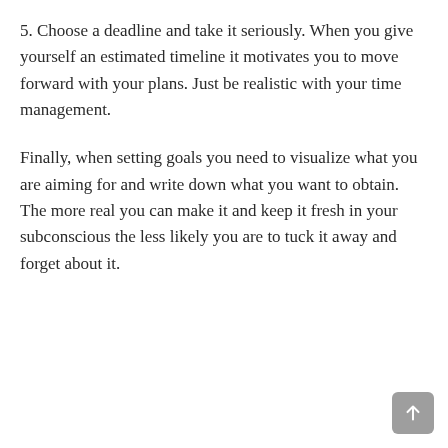5. Choose a deadline and take it seriously. When you give yourself an estimated timeline it motivates you to move forward with your plans. Just be realistic with your time management.
Finally, when setting goals you need to visualize what you are aiming for and write down what you want to obtain. The more real you can make it and keep it fresh in your subconscious the less likely you are to tuck it away and forget about it.